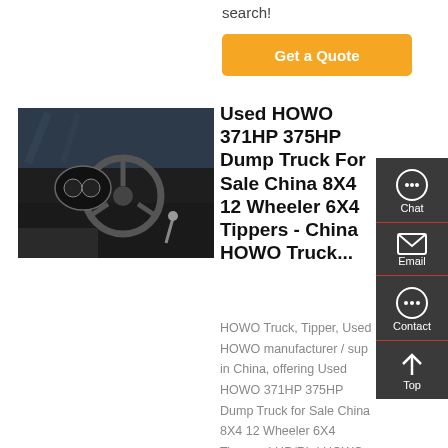search!
[Figure (other): Orange Get a Quote button]
[Figure (photo): Interior cab photo of a HOWO dump truck showing steering wheel and dashboard]
Used HOWO 371HP 375HP Dump Truck For Sale China 8X4 12 Wheeler 6X4 Tippers - China HOWO Truck...
HOWO Truck, Tipper, Used HOWO manufacturer / sup in China, offering Used HOWO 371HP 375HP Dump Truck for Sale China 8X4 12 Wheeler 6X4 Tippers, LHD/Rhd HOWO Used
[Figure (infographic): Right-side floating sidebar with Chat, Email, Contact, and Top navigation icons on dark background]